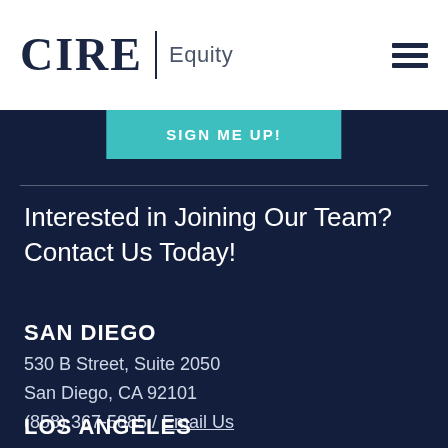CIRE Equity
SIGN ME UP!
Interested in Joining Our Team? Contact Us Today!
SAN DIEGO
530 B Street, Suite 2050
San Diego, CA 92101
(858) 367-5885 / Email Us
LOS ANGELES